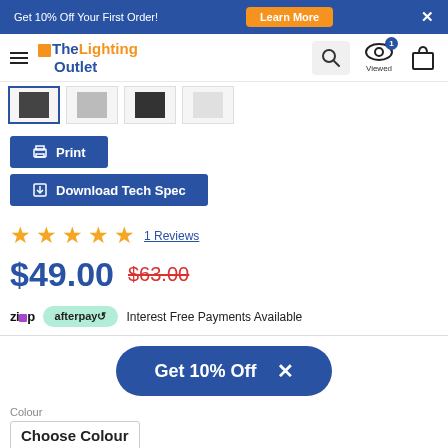Get 10% Off Your First Order! Learn More X
The Lighting Outlet — navigation with search, viewed, cart
[Figure (screenshot): Four product thumbnail images in a horizontal strip]
Print
Download Tech Spec
★★★★★ 1 Reviews
$49.00  $63.00
Zip  afterpay  Interest Free Payments Available
Get 10% Off  X
Colour
Choose Colour